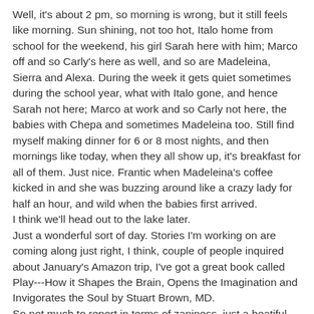Well, it's about 2 pm, so morning is wrong, but it still feels like morning. Sun shining, not too hot, Italo home from school for the weekend, his girl Sarah here with him; Marco off and so Carly's here as well, and so are Madeleina, Sierra and Alexa. During the week it gets quiet sometimes during the school year, what with Italo gone, and hence Sarah not here; Marco at work and so Carly not here, the babies with Chepa and sometimes Madeleina too. Still find myself making dinner for 6 or 8 most nights, and then mornings like today, when they all show up, it's breakfast for all of them. Just nice. Frantic when Madeleina's coffee kicked in and she was buzzing around like a crazy lady for half an hour, and wild when the babies first arrived.
I think we'll head out to the lake later.
Just a wonderful sort of day. Stories I'm working on are coming along just right, I think, couple of people inquired about January's Amazon trip, I've got a great book called Play---How it Shapes the Brain, Opens the Imagination and Invigorates the Soul by Stuart Brown, MD.
So not much to report in terms of zaniness, just a beatiful morning here in Joshua.